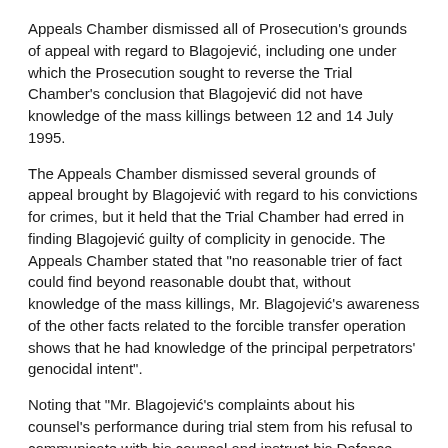Appeals Chamber dismissed all of Prosecution's grounds of appeal with regard to Blagojević, including one under which the Prosecution sought to reverse the Trial Chamber's conclusion that Blagojević did not have knowledge of the mass killings between 12 and 14 July 1995.
The Appeals Chamber dismissed several grounds of appeal brought by Blagojević with regard to his convictions for crimes, but it held that the Trial Chamber had erred in finding Blagojević guilty of complicity in genocide. The Appeals Chamber stated that "no reasonable trier of fact could find beyond reasonable doubt that, without knowledge of the mass killings, Mr. Blagojević's awareness of the other facts related to the forcible transfer operation shows that he had knowledge of the principal perpetrators' genocidal intent".
Noting that "Mr. Blagojević's complaints about his counsel's performance during trial stem from his refusal to communicate with his counsel and instruct his Defence team", the Appeals Chamber dismissed Blagojević's first ground of appeal under which he alleged that his trial was not fair. Judge Shahabuddeen dissented and considered that Blagojević's request for a new trial should have been granted.